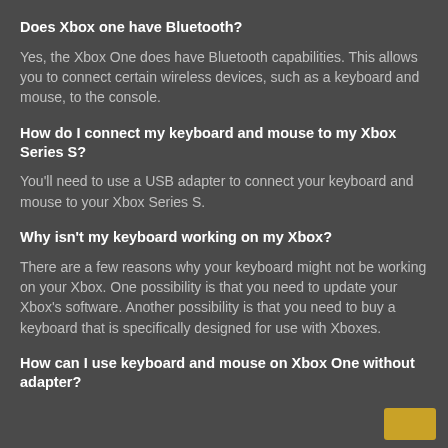Does Xbox one have Bluetooth?
Yes, the Xbox One does have Bluetooth capabilities. This allows you to connect certain wireless devices, such as a keyboard and mouse, to the console.
How do I connect my keyboard and mouse to my Xbox Series S?
You'll need to use a USB adapter to connect your keyboard and mouse to your Xbox Series S.
Why isn't my keyboard working on my Xbox?
There are a few reasons why your keyboard might not be working on your Xbox. One possibility is that you need to update your Xbox's software. Another possibility is that you need to buy a keyboard that is specifically designed for use with Xboxes.
How can I use keyboard and mouse on Xbox One without adapter?